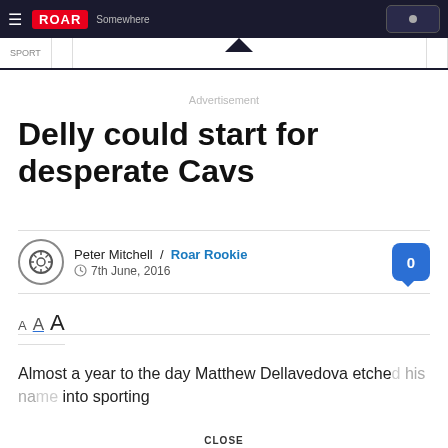Roar — navigation bar with logo and menu
Advertisement
Delly could start for desperate Cavs
Peter Mitchell / Roar Rookie
7th June, 2016
A A A (font size controls)
Almost a year to the day Matthew Dellavedova etched his name into sporting